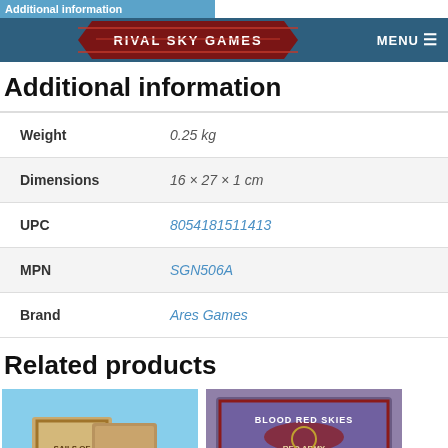Additional information
[Figure (logo): Rival Sky Games logo on dark blue header bar with red ribbon banner and MENU button]
Additional information
|  |  |
| --- | --- |
| Weight | 0.25 kg |
| Dimensions | 16 × 27 × 1 cm |
| UPC | 8054181511413 |
| MPN | SGN506A |
| Brand | Ares Games |
Related products
[Figure (photo): Sails of Glory board game box product image]
[Figure (photo): Blood Red Skies Red Army Expansion Pack product image]